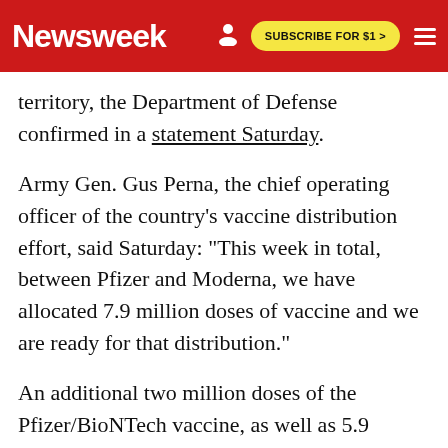Newsweek | SUBSCRIBE FOR $1 >
territory, the Department of Defense confirmed in a statement Saturday.
Army Gen. Gus Perna, the chief operating officer of the country's vaccine distribution effort, said Saturday: "This week in total, between Pfizer and Moderna, we have allocated 7.9 million doses of vaccine and we are ready for that distribution."
An additional two million doses of the Pfizer/BioNTech vaccine, as well as 5.9 million doses of the Moderna/NIAID vaccine, are